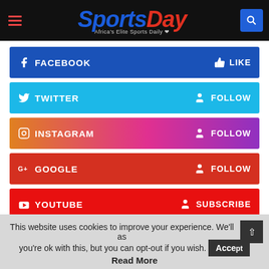SportsDay — Africa's Elite Sports Daily
[Figure (infographic): Social media follow/subscribe buttons for Facebook (LIKE), Twitter (FOLLOW), Instagram (FOLLOW), Google+ (FOLLOW), YouTube (SUBSCRIBE), and Email (FOLLOW)]
This website uses cookies to improve your experience. We'll assume you're ok with this, but you can opt-out if you wish. Accept
Read More